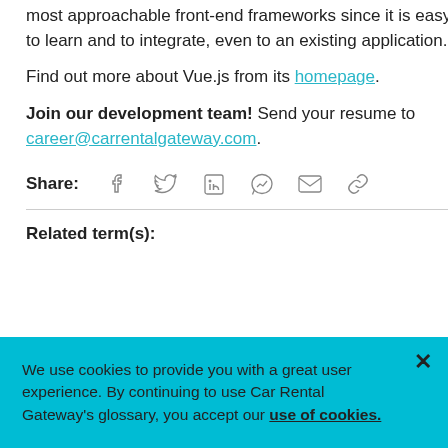most approachable front-end frameworks since it is easy to learn and to integrate, even to an existing application.
Find out more about Vue.js from its homepage.
Join our development team! Send your resume to career@carrentalgateway.com.
[Figure (infographic): Share icons row: Facebook, Twitter, LinkedIn, Messenger, Email, Link]
Related term(s):
We use cookies to provide you with a great user experience. By continuing to use Car Rental Gateway's glossary, you accept our use of cookies.